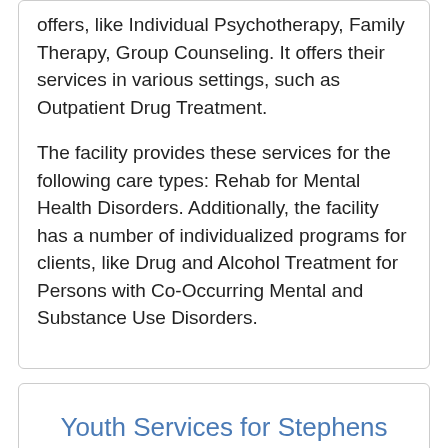offers, like Individual Psychotherapy, Family Therapy, Group Counseling. It offers their services in various settings, such as Outpatient Drug Treatment.

The facility provides these services for the following care types: Rehab for Mental Health Disorders. Additionally, the facility has a number of individualized programs for clients, like Drug and Alcohol Treatment for Persons with Co-Occurring Mental and Substance Use Disorders.
Youth Services for Stephens Cnty Inc